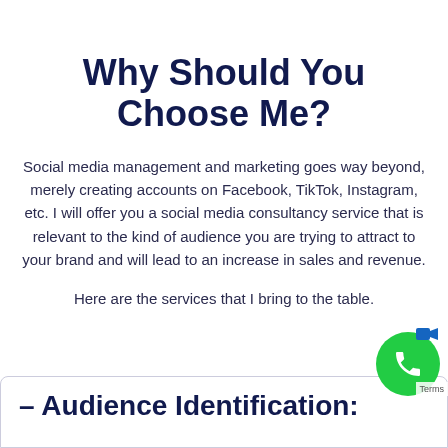Why Should You Choose Me?
Social media management and marketing goes way beyond, merely creating accounts on Facebook, TikTok, Instagram, etc. I will offer you a social media consultancy service that is relevant to the kind of audience you are trying to attract to your brand and will lead to an increase in sales and revenue.
Here are the services that I bring to the table.
– Audience Identification: